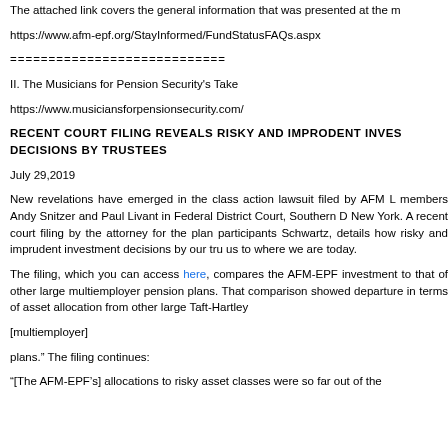The attached link covers the general information that was presented at the m
https://www.afm-epf.org/StayInformed/FundStatusFAQs.aspx
============================
II. The Musicians for Pension Security's Take
https://www.musiciansforpensionsecurity.com/
RECENT COURT FILING REVEALS RISKY AND IMPRODENT INVES DECISIONS by TRUSTEES
July 29,2019
New revelations have emerged in the class action lawsuit filed by AFM L members Andy Snitzer and Paul Livant in Federal District Court, Southern D New York. A recent court filing by the attorney for the plan participants Schwartz, details how risky and imprudent investment decisions by our tru us to where we are today.
The filing, which you can access here, compares the AFM-EPF investment to that of other large multiemployer pension plans. That comparison showed departure in terms of asset allocation from other large Taft-Hartley
[multiemployer]
plans.” The filing continues:
“[The AFM-EPF's] allocations to risky asset classes were so far out of the